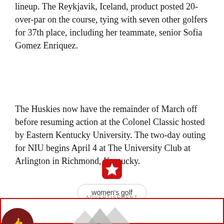lineup. The Reykjavik, Iceland, product posted 20-over-par on the course, tying with seven other golfers for 37th place, including her teammate, senior Sofia Gomez Enriquez.
The Huskies now have the remainder of March off before resuming action at the Colonel Classic hosted by Eastern Kentucky University. The two-day outing for NIU begins April 4 at The University Club at Arlington in Richmond, Kentucky.
[Figure (logo): Red rounded square icon with white star in center]
women's golf
ADVERTISEMENT
[Figure (illustration): Bottom advertisement strip with red border, dark red circle with thumbs up icon on left, and chevron/roof shapes in the center-right area]